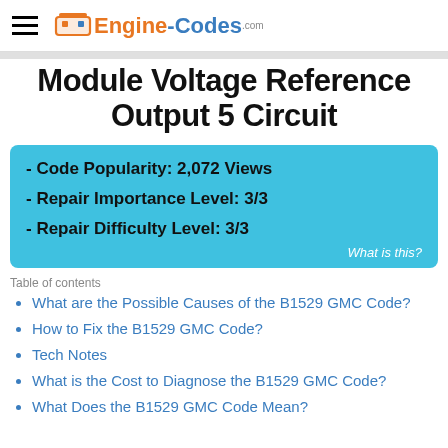Engine-Codes
B1529 GMC Code – Control Module Voltage Reference Output 5 Circuit
- Code Popularity: 2,072 Views
- Repair Importance Level: 3/3
- Repair Difficulty Level: 3/3
What is this?
Table of contents
What are the Possible Causes of the B1529 GMC Code?
How to Fix the B1529 GMC Code?
Tech Notes
What is the Cost to Diagnose the B1529 GMC Code?
What Does the B1529 GMC Code Mean?